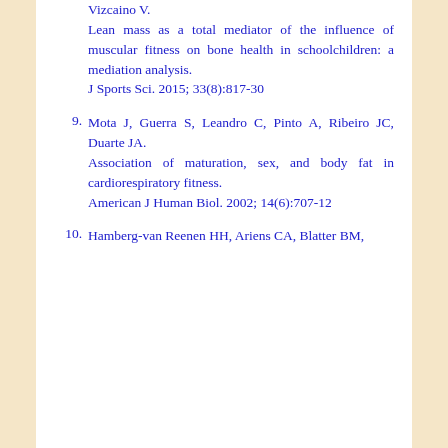Vizcaino V. Lean mass as a total mediator of the influence of muscular fitness on bone health in schoolchildren: a mediation analysis. J Sports Sci. 2015; 33(8):817-30
9. Mota J, Guerra S, Leandro C, Pinto A, Ribeiro JC, Duarte JA. Association of maturation, sex, and body fat in cardiorespiratory fitness. American J Human Biol. 2002; 14(6):707-12
10. Hamberg-van Reenen HH, Ariens CA, Blatter BM,...